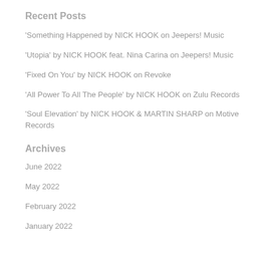Recent Posts
'Something Happened by NICK HOOK on Jeepers! Music
'Utopia' by NICK HOOK feat. Nina Carina on Jeepers! Music
'Fixed On You' by NICK HOOK on Revoke
'All Power To All The People' by NICK HOOK on Zulu Records
'Soul Elevation' by NICK HOOK & MARTIN SHARP on Motive Records
Archives
June 2022
May 2022
February 2022
January 2022